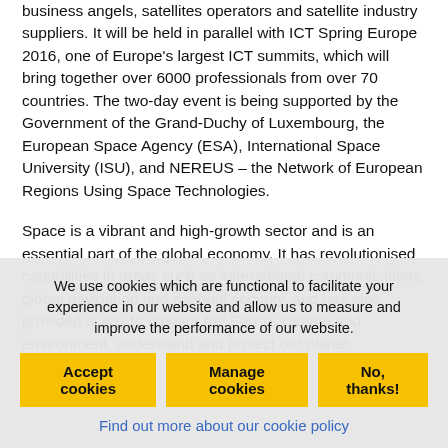business angels, satellites operators and satellite industry suppliers. It will be held in parallel with ICT Spring Europe 2016, one of Europe's largest ICT summits, which will bring together over 6000 professionals from over 70 countries. The two-day event is being supported by the Government of the Grand-Duchy of Luxembourg, the European Space Agency (ESA), International Space University (ISU), and NEREUS – the Network of European Regions Using Space Technologies.
Space is a vibrant and high-growth sector and is an essential part of the global economy. It has revolutionised capabilities in areas such as international communications, global navigation and national security, and has also provided a way to monitor the Earth's climate and environment, understand and protect our planet.
We use cookies which are functional to facilitate your experience in our website and allow us to measure and improve the performance of our website.
Accept cookies | Manage cookies | No, thanks!
Find out more about our cookie policy